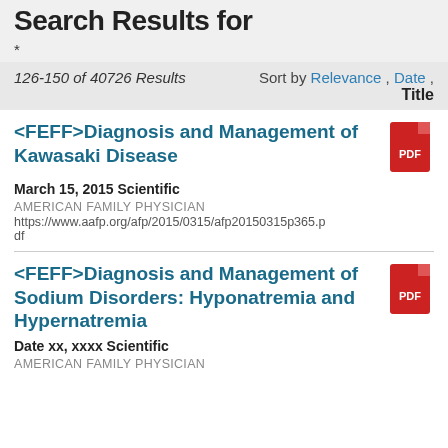Search Results for
*
126-150 of 40726 Results   Sort by Relevance , Date , Title
<FEFF>Diagnosis and Management of Kawasaki Disease
March 15, 2015 Scientific
AMERICAN FAMILY PHYSICIAN
https://www.aafp.org/afp/2015/0315/afp20150315p365.pdf
<FEFF>Diagnosis and Management of Sodium Disorders: Hyponatremia and Hypernatremia
Date xx, xxxx Scientific
AMERICAN FAMILY PHYSICIAN